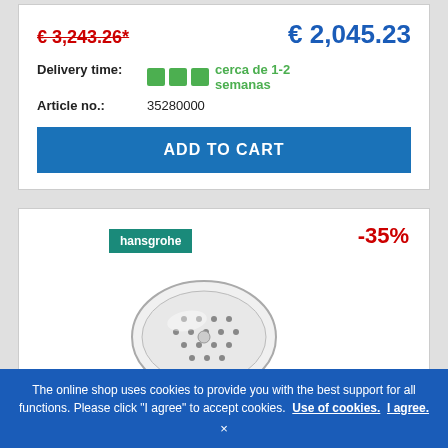€ 3,243.26* (strikethrough, red) | € 2,045.23 (blue)
Delivery time: cerca de 1-2 semanas
Article no.: 35280000
ADD TO CART
[Figure (screenshot): Hansgrohe brand badge (teal/green) and -35% discount badge (red), with a product photo of a chrome hand shower head on white background.]
The online shop uses cookies to provide you with the best support for all functions. Please click "I agree" to accept cookies. Use of cookies. I agree. ×